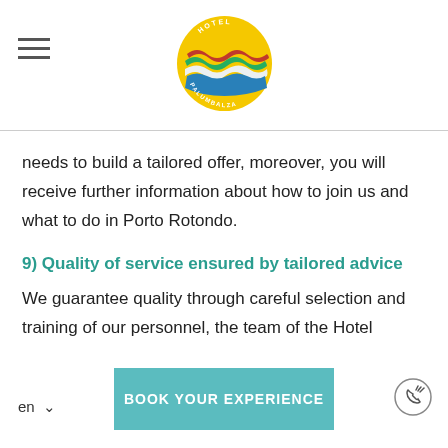[Figure (logo): Hotel Palumbalza circular logo with colorful wave design and text around the border]
needs to build a tailored offer, moreover, you will receive further information about how to join us and what to do in Porto Rotondo.
9) Quality of service ensured by tailored advice
We guarantee quality through careful selection and training of our personnel, the team of the Hotel Palumbalza operates in Porto Rotondo itself and knows perfectly the place, in a way to suggest the best things to do and to see, to organize an excursion or let you take part in a special event and to satisfy all your wishes. We will take care of you at any moment. To book with us, therefore means to get a
en   BOOK YOUR EXPERIENCE